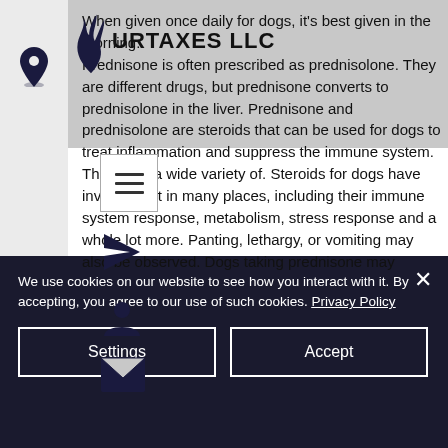[Figure (logo): Flame logo with text 'URTAXES LLC']
When given once daily for dogs, it's best given in the morning. Prednisone is often prescribed as prednisolone. They are different drugs, but prednisone converts to prednisolone in the liver. Prednisone and prednisolone are steroids that can be used for dogs to treat inflammation and suppress the immune system. They treat a wide variety of. Steroids for dogs have involvement in many places, including their immune system response, metabolism, stress response and a whole lot more. Panting, lethargy, or vomiting may also be observed. Dogs taking prednisone may
We use cookies on our website to see how you interact with it. By accepting, you agree to our use of such cookies. Privacy Policy